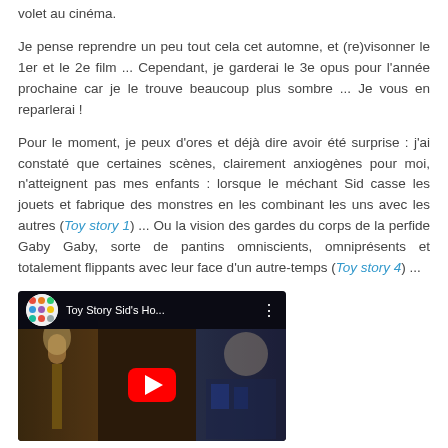volet au cinéma.
Je pense reprendre un peu tout cela cet automne, et (re)visonner le 1er et le 2e film ... Cependant, je garderai le 3e opus pour l'année prochaine car je le trouve beaucoup plus sombre ... Je vous en reparlerai !
Pour le moment, je peux d'ores et déjà dire avoir été surprise : j'ai constaté que certaines scènes, clairement anxiogènes pour moi, n'atteignent pas mes enfants : lorsque le méchant Sid casse les jouets et fabrique des monstres en les combinant les uns avec les autres (Toy story 1) ... Ou la vision des gardes du corps de la perfide Gaby Gaby, sorte de pantins omniscients, omniprésents et totalement flippants avec leur face d'un autre-temps (Toy story 4) ...
[Figure (screenshot): YouTube video thumbnail showing 'Toy Story Sid's Ho...' with a dark scene, play button, and channel icon]